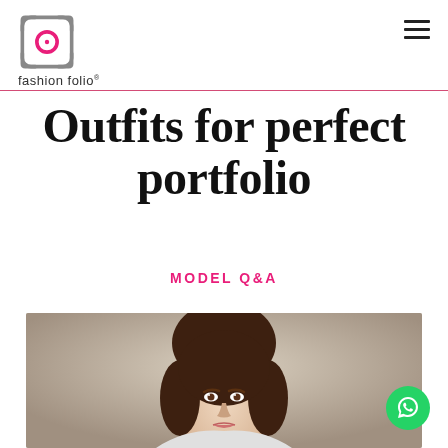fashion folio®
Outfits for perfect portfolio
MODEL Q&A
[Figure (photo): Portrait photo of a young woman with brown hair, looking at the camera, against a neutral beige/grey background]